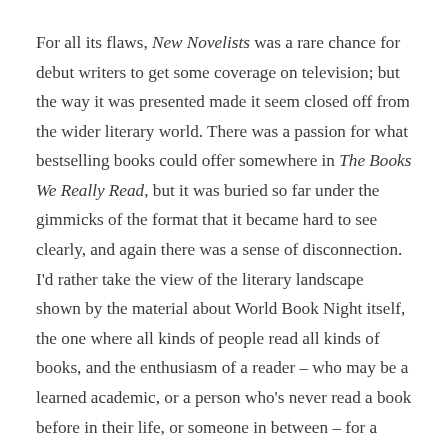For all its flaws, New Novelists was a rare chance for debut writers to get some coverage on television; but the way it was presented made it seem closed off from the wider literary world. There was a passion for what bestselling books could offer somewhere in The Books We Really Read, but it was buried so far under the gimmicks of the format that it became hard to see clearly, and again there was a sense of disconnection. I'd rather take the view of the literary landscape shown by the material about World Book Night itself, the one where all kinds of people read all kinds of books, and the enthusiasm of a reader – who may be a learned academic, or a person who's never read a book before in their life, or someone in between – for a book they love is what counts the most.